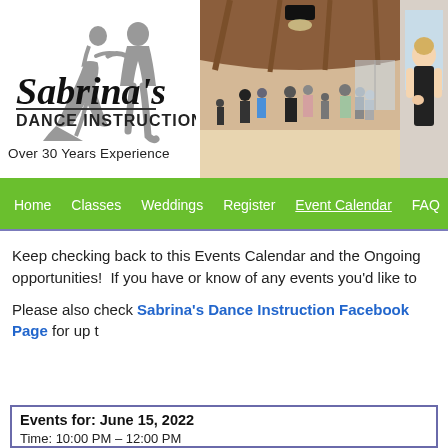[Figure (logo): Sabrina's Dance Instruction logo with silhouette of dancing couple]
Over 30 Years Experience
[Figure (photo): Group of people dancing in a large hall with wood beam ceiling]
[Figure (photo): Woman in black dress standing, partially visible]
Home   Classes   Weddings   Register   Event Calendar   FAQ
Keep checking back to this Events Calendar and the Ongoing opportunities!  If you have or know of any events you'd like to
Please also check Sabrina's Dance Instruction Facebook Page for up t
| Events for: June 15, 2022 |
| Time: 10:00 PM – 12:00 PM |